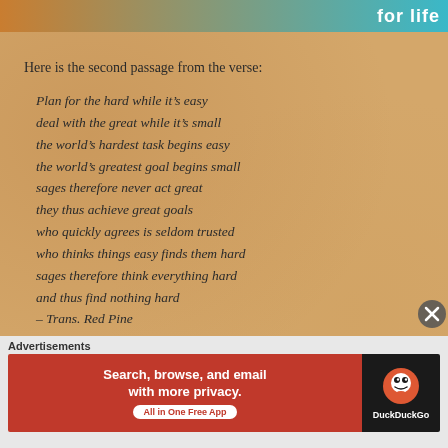for life
Here is the second passage from the verse:
Plan for the hard while it’s easy
deal with the great while it’s small
the world’s hardest task begins easy
the world’s greatest goal begins small
sages therefore never act great
they thus achieve great goals
who quickly agrees is seldom trusted
who thinks things easy finds them hard
sages therefore think everything hard
and thus find nothing hard
– Trans. Red Pine
Take on difficulties while they are still easy
Advertisements
[Figure (infographic): DuckDuckGo advertisement: Search, browse, and email with more privacy. All in One Free App. Red background with DuckDuckGo logo on dark background.]